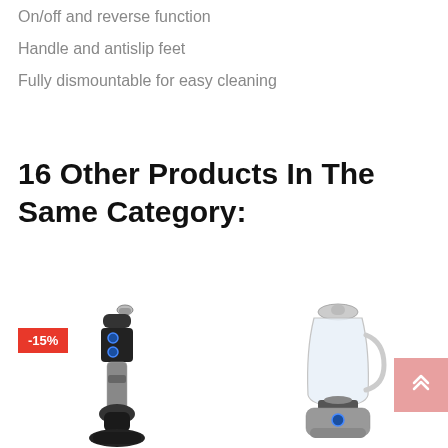On/off and reverse function
Handle and antislip feet
Fully dismountable for easy cleaning
16 Other Products In The Same Category:
[Figure (photo): Hand blender / immersion blender product photo with a -15% red badge in the top left corner. The blender is black and silver standing upright.]
[Figure (photo): Countertop blender with glass jar and stainless steel base product photo. A pink scroll-to-top button with double chevron arrows overlaps the top right corner.]